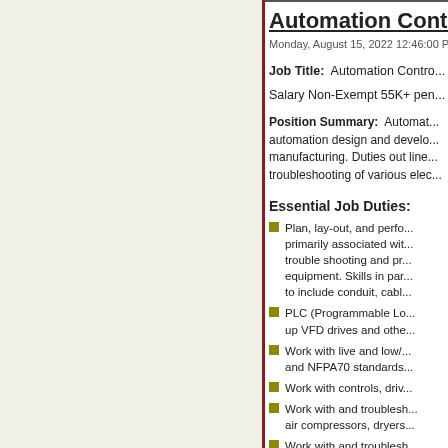Automation Contro...
Monday, August 15, 2022 12:46:00 P...
Job Title:  Automation Contro...
Salary Non-Exempt 55K+ pen...
Position Summary:  Automat... automation design and develo... manufacturing. Duties out line... troubleshooting of various elec...
Essential Job Duties:
Plan, lay-out, and perfo... primarily associated wit... trouble shooting and pr... equipment. Skills in par... to include conduit, cabl...
PLC (Programmable Lo... up VFD drives and othe...
Work with live and low/... and NFPA70 standards...
Work with controls, driv...
Work with and troublesh... air compressors, dryers...
Work with and troublesh... and pumps.
Work from drawings, bl... charts, wiring diagrams...